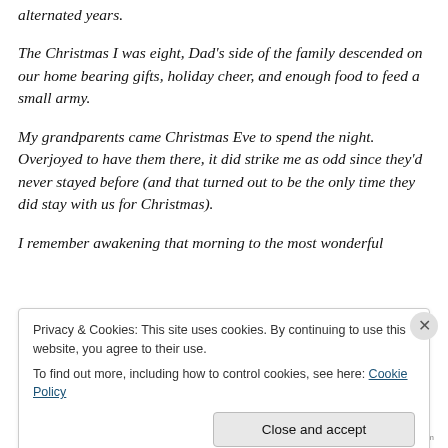alternated years.
The Christmas I was eight, Dad’s side of the family descended on our home bearing gifts, holiday cheer, and enough food to feed a small army.
My grandparents came Christmas Eve to spend the night. Overjoyed to have them there, it did strike me as odd since they’d never stayed before (and that turned out to be the only time they did stay with us for Christmas).
I remember awakening that morning to the most wonderful
Privacy & Cookies: This site uses cookies. By continuing to use this website, you agree to their use.
To find out more, including how to control cookies, see here: Cookie Policy